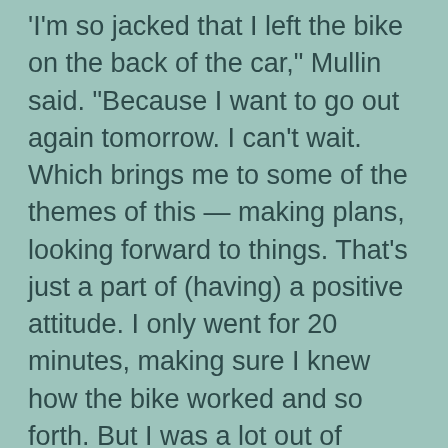'I'm so jacked that I left the bike on the back of the car,' Mullin said. 'Because I want to go out again tomorrow. I can't wait. Which brings me to some of the themes of this — making plans, looking forward to things. That's just a part of (having) a positive attitude. I only went for 20 minutes, making sure I knew how the bike worked and so forth. But I was a lot out of breath. I needed oxygen to help with the Stage IV pancreatic cancer that has metastasized into my lungs. So I need a little extra air help. But the point of the ride was the ride — just to do what I can.'